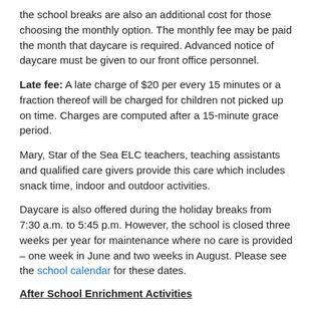the school breaks are also an additional cost for those choosing the monthly option. The monthly fee may be paid the month that daycare is required. Advanced notice of daycare must be given to our front office personnel.
Late fee: A late charge of $20 per every 15 minutes or a fraction thereof will be charged for children not picked up on time. Charges are computed after a 15-minute grace period.
Mary, Star of the Sea ELC teachers, teaching assistants and qualified care givers provide this care which includes snack time, indoor and outdoor activities.
Daycare is also offered during the holiday breaks from 7:30 a.m. to 5:45 p.m. However, the school is closed three weeks per year for maintenance where no care is provided – one week in June and two weeks in August. Please see the school calendar for these dates.
After School Enrichment Activities
***Due to the COVID-19 pandemic this activity is currently not offered.***